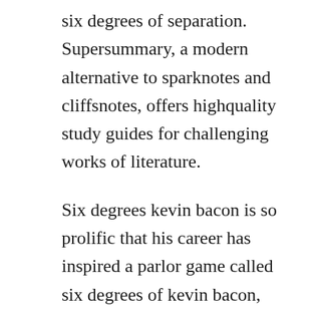six degrees of separation. Supersummary, a modern alternative to sparknotes and cliffsnotes, offers highquality study guides for challenging works of literature.
Six degrees kevin bacon is so prolific that his career has inspired a parlor game called six degrees of kevin bacon, in which players link other stars to the actor through six or fewer films. Born and raised in the seattle area, nicole and her family now. Documentary unfolding the science behind the idea of six degrees of separation. Watch six degrees of